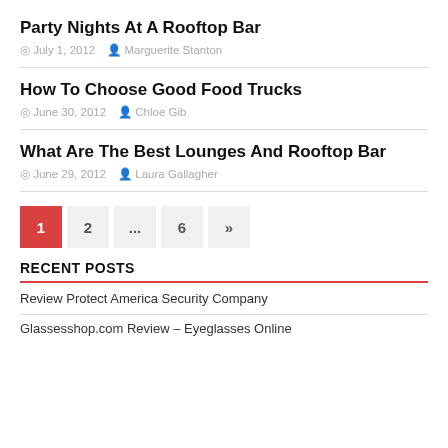Party Nights At A Rooftop Bar
July 1, 2012   Marguerite Stanton
How To Choose Good Food Trucks
June 30, 2012   Chloe Gib
What Are The Best Lounges And Rooftop Bar
June 29, 2012   Laura Gallagher
1  2  ...  6  »
RECENT POSTS
Review Protect America Security Company
Glassesshop.com Review – Eyeglasses Online